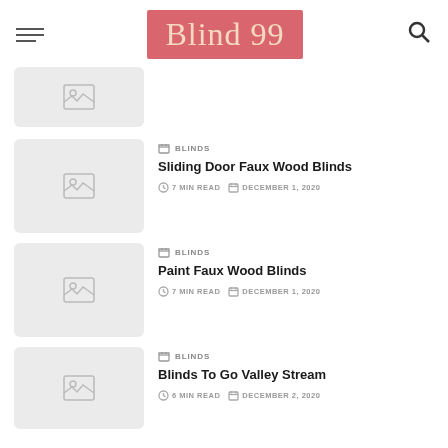Blind 99
[Figure (photo): Placeholder thumbnail image (first article, partial)]
BLINDS
Sliding Door Faux Wood Blinds
7 MIN READ   DECEMBER 1, 2020
[Figure (photo): Placeholder thumbnail image (second article)]
BLINDS
Paint Faux Wood Blinds
7 MIN READ   DECEMBER 1, 2020
[Figure (photo): Placeholder thumbnail image (third article)]
BLINDS
Blinds To Go Valley Stream
6 MIN READ   DECEMBER 2, 2020